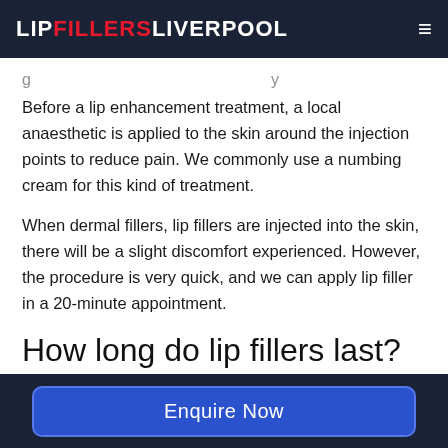LIP FILLERS LIVERPOOL
Before a lip enhancement treatment, a local anaesthetic is applied to the skin around the injection points to reduce pain. We commonly use a numbing cream for this kind of treatment.
When dermal fillers, lip fillers are injected into the skin, there will be a slight discomfort experienced. However, the procedure is very quick, and we can apply lip filler in a 20-minute appointment.
How long do lip fillers last?
Enquire Now